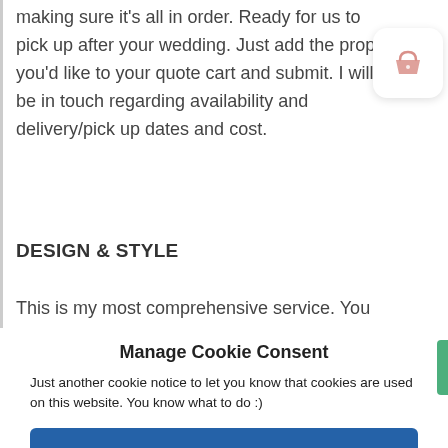making sure it's all in order. Ready for us to pick up after your wedding. Just add the props you'd like to your quote cart and submit. I will be in touch regarding availability and delivery/pick up dates and cost.
[Figure (illustration): Shopping basket icon in muted pink/salmon color inside a white rounded rectangle card with shadow]
DESIGN & STYLE
This is my most comprehensive service. You
Manage Cookie Consent
Just another cookie notice to let you know that cookies are used on this website. You know what to do :)
Accept All Cookies
Deny